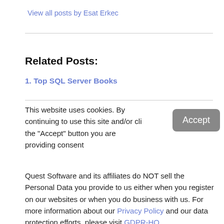View all posts by Esat Erkec
Related Posts:
1. Top SQL Server Books
This website uses cookies. By continuing to use this site and/or cli the "Accept" button you are providing consent
Quest Software and its affiliates do NOT sell the Personal Data you provide to us either when you register on our websites or when you do business with us. For more information about our Privacy Policy and our data protection efforts, please visit GDPR-HQ